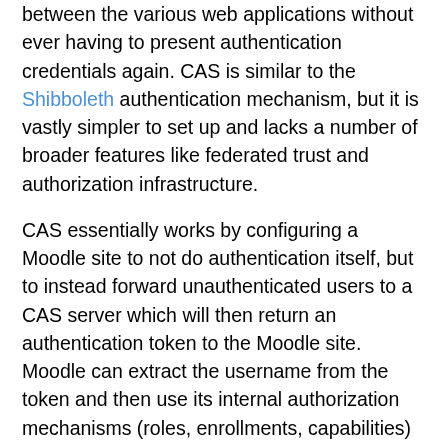between the various web applications without ever having to present authentication credentials again. CAS is similar to the Shibboleth authentication mechanism, but it is vastly simpler to set up and lacks a number of broader features like federated trust and authorization infrastructure.
CAS essentially works by configuring a Moodle site to not do authentication itself, but to instead forward unauthenticated users to a CAS server which will then return an authentication token to the Moodle site. Moodle can extract the username from the token and then use its internal authorization mechanisms (roles, enrollments, capabilities) and user attributes (name, picture, etc.). The advantage is that the Moodle site never has to handle passwords and that users, once they've authenticated the first time, can move seamlessly to another web application without having to present their credentials again.